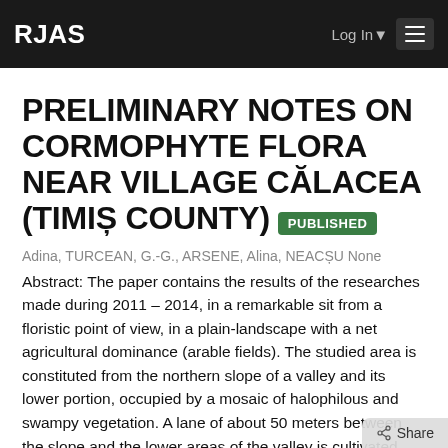RJAS | Log In | ☰
PRELIMINARY NOTES ON CORMOPHYTE FLORA NEAR VILLAGE CĂLACEA (TIMIȘ COUNTY) PUBLISHED
Adina, TURCEAN, G.-G., ARSENE, Alina, NEACȘU None
Abstract: The paper contains the results of the researches made during 2011 – 2014, in a remarkable sit from a floristic point of view, in a plain-landscape with a net agricultural dominance (arable fields). The studied area is constituted from the northern slope of a valley and its lower portion, occupied by a mosaic of halophilous and swampy vegetation. A lane of about 50 meters between the slope and the lower areas of the valley is cultivated every year, with corn or grain. Thus, we have identified 137 species of cormophytes, out of which we consider as remarkable Adonis vernalis and Pulsatilla